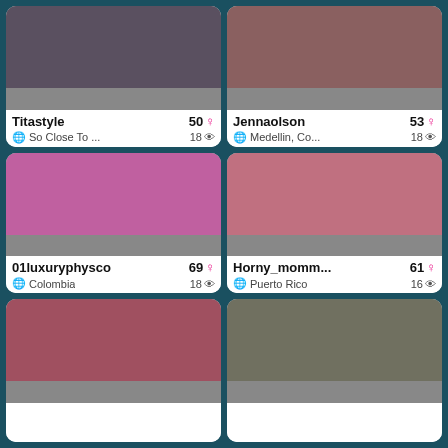[Figure (screenshot): Webcam thumbnail of Titastyle]
Titastyle  50 ♀  So Close To ...  18 👁
[Figure (screenshot): Webcam thumbnail of Jennaolson]
Jennaolson  53 ♀  Medellin, Co...  18 👁
[Figure (screenshot): Webcam thumbnail of 01luxuryphysco]
01luxuryphysco  69 ♀  Colombia  18 👁
[Figure (screenshot): Webcam thumbnail of Horny_momm...]
Horny_momm...  61 ♀  Puerto Rico  16 👁
[Figure (screenshot): Webcam thumbnail of red-haired woman]
[Figure (screenshot): Webcam thumbnail of blonde woman]